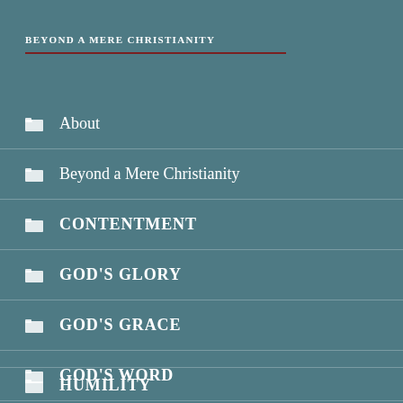BEYOND A MERE CHRISTIANITY
About
Beyond a Mere Christianity
CONTENTMENT
GOD'S GLORY
GOD'S GRACE
GOD'S WORD
GRIEF
HUMILITY